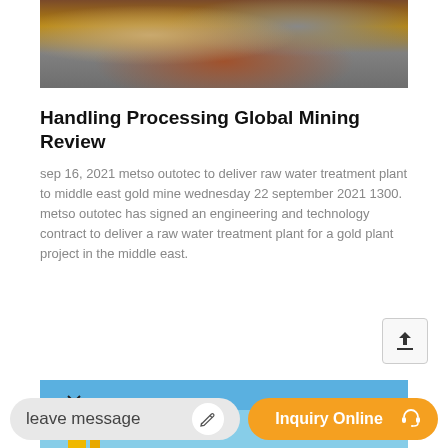[Figure (photo): Mining equipment photo showing rocks/ore and metal processing equipment in brown and grey tones]
Handling Processing Global Mining Review
sep 16, 2021 metso outotec to deliver raw water treatment plant to middle east gold mine wednesday 22 september 2021 1300. metso outotec has signed an engineering and technology contract to deliver a raw water treatment plant for a gold plant project in the middle east.
[Figure (photo): Partial photo showing blue sky with a bird silhouette and yellow machinery at the bottom]
leave message
Inquiry Online